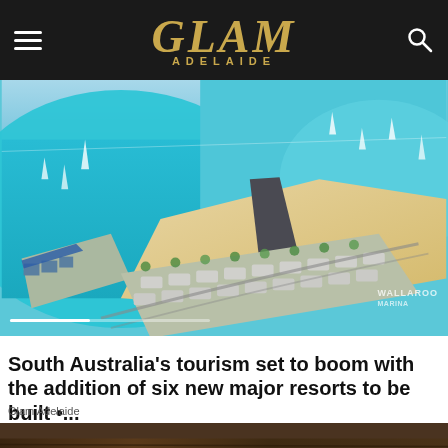GLAM ADELAIDE
[Figure (photo): Aerial rendering of a coastal resort development with turquoise water, marina with sailboats, sandy beach, and rows of resort villas. WALLAROO watermark visible in bottom right.]
South Australia's tourism set to boom with the addition of six new major resorts to be built •...
Glam Adelaide
[Figure (photo): Partially visible image showing a dark brown wooden or timber surface, bottom of page.]